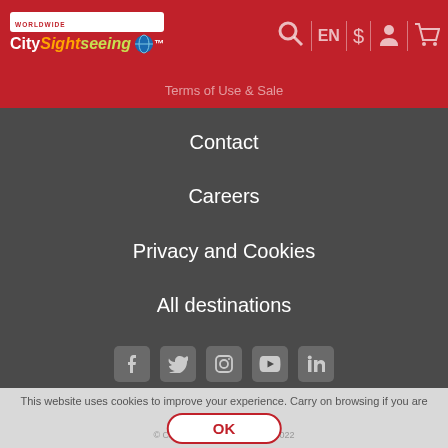City Sightseeing - Terms of Use & Sale
Contact
Careers
Privacy and Cookies
All destinations
[Figure (other): Social media icons: Facebook, Twitter, Instagram, YouTube, LinkedIn]
This website uses cookies to improve your experience. Carry on browsing if you are happy with this. Learn more
© City Sightseeing Worldwide 2022